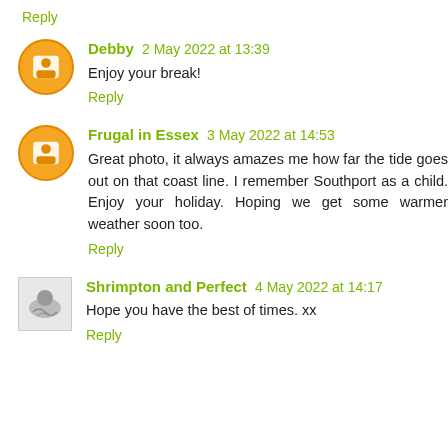Reply
Debby 2 May 2022 at 13:39
Enjoy your break!
Reply
Frugal in Essex 3 May 2022 at 14:53
Great photo, it always amazes me how far the tide goes out on that coast line. I remember Southport as a child. Enjoy your holiday. Hoping we get some warmer weather soon too.
Reply
Shrimpton and Perfect 4 May 2022 at 14:17
Hope you have the best of times. xx
Reply